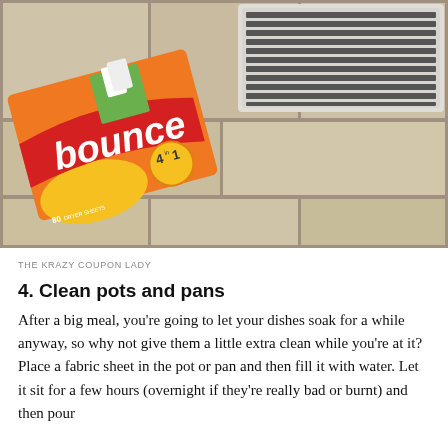[Figure (photo): A box of Bounce 4-in-1 dryer sheets (80 count, orange box) resting on a tile floor next to a metal floor air vent/register. The tile has a stone-like pattern in gray and tan tones.]
THE KRAZY COUPON LADY
4. Clean pots and pans
After a big meal, you're going to let your dishes soak for a while anyway, so why not give them a little extra clean while you're at it? Place a fabric sheet in the pot or pan and then fill it with water. Let it sit for a few hours (overnight if they're really bad or burnt) and then pour